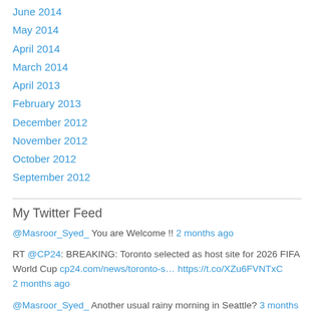June 2014
May 2014
April 2014
March 2014
April 2013
February 2013
December 2012
November 2012
October 2012
September 2012
My Twitter Feed
@Masroor_Syed_ You are Welcome !! 2 months ago
RT @CP24: BREAKING: Toronto selected as host site for 2026 FIFA World Cup cp24.com/news/toronto-s… https://t.co/XZu6FVNTxC 2 months ago
@Masroor_Syed_ Another usual rainy morning in Seattle? 3 months ago